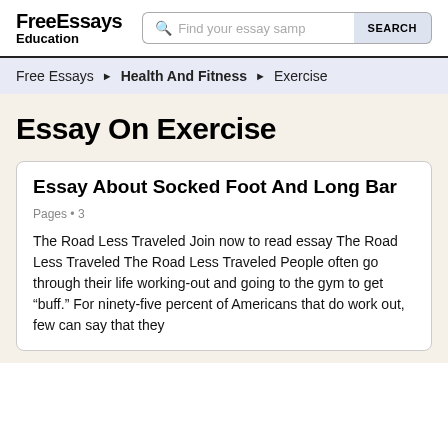FreeEssays Education
Free Essays > Health And Fitness > Exercise
Essay On Exercise
Essay About Socked Foot And Long Bar
Pages • 3
The Road Less Traveled Join now to read essay The Road Less Traveled The Road Less Traveled People often go through their life working-out and going to the gym to get "buff." For ninety-five percent of Americans that do work out, few can say that they